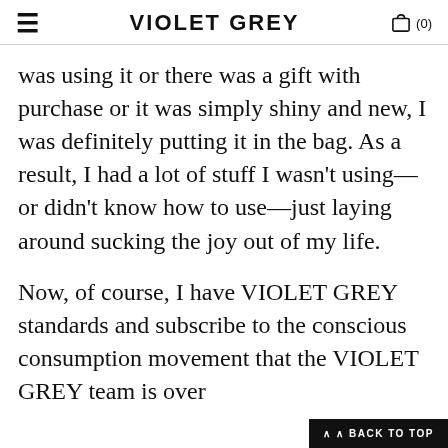≡   VIOLET GREY   🛍 (0)
was using it or there was a gift with purchase or it was simply shiny and new, I was definitely putting it in the bag. As a result, I had a lot of stuff I wasn't using—or didn't know how to use—just laying around sucking the joy out of my life.
Now, of course, I have VIOLET GREY standards and subscribe to the conscious consumption movement that the VIOLET GREY team is over
∧ BACK TO TOP